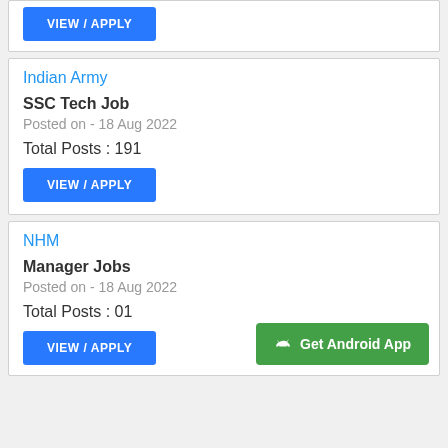VIEW / APPLY
Indian Army
SSC Tech Job
Posted on - 18 Aug 2022
Total Posts : 191
VIEW / APPLY
NHM
Manager Jobs
Posted on - 18 Aug 2022
Total Posts : 01
VIEW / APPLY
Get Android App